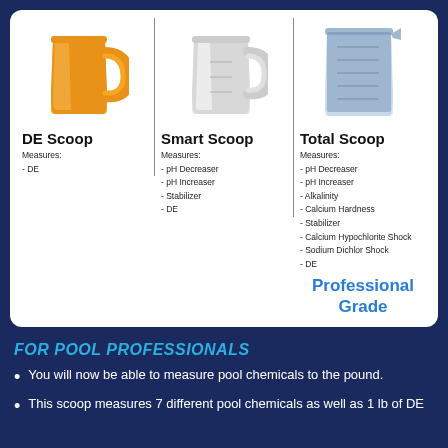[Figure (infographic): Three measuring scoops comparison: DE Scoop (orange), Smart Scoop (white/translucent), Total Scoop (clear with measurement markings). Each shows what pool chemicals it measures.]
FOR POOL PROFESSIONALS
You will now be able to measure pool chemicals to the pound.
This scoop measures 7 different pool chemicals as well as 1 lb of DE